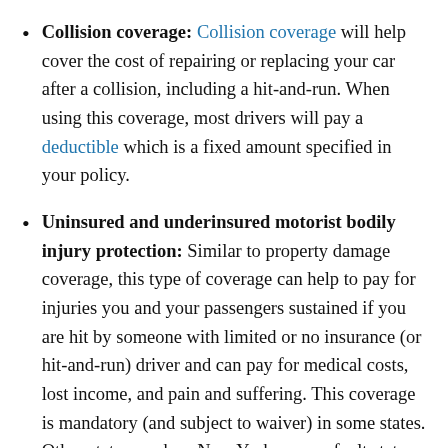Collision coverage: Collision coverage will help cover the cost of repairing or replacing your car after a collision, including a hit-and-run. When using this coverage, most drivers will pay a deductible which is a fixed amount specified in your policy.
Uninsured and underinsured motorist bodily injury protection: Similar to property damage coverage, this type of coverage can help to pay for injuries you and your passengers sustained if you are hit by someone with limited or no insurance (or hit-and-run) driver and can pay for medical costs, lost income, and pain and suffering. This coverage is mandatory (and subject to waiver) in some states. Other states, such as New York, are no-fault states, meaning